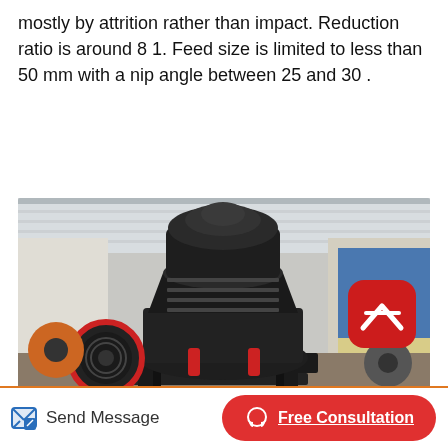mostly by attrition rather than impact. Reduction ratio is around 8 1. Feed size is limited to less than 50 mm with a nip angle between 25 and 30 .
Read More
[Figure (photo): Large black cone crusher machine in an industrial warehouse setting, with a red flywheel on the left and red hydraulic cylinders visible at the base. A red rounded-square scroll-to-top button appears in the upper right corner of the image.]
Send Message
Free Consultation